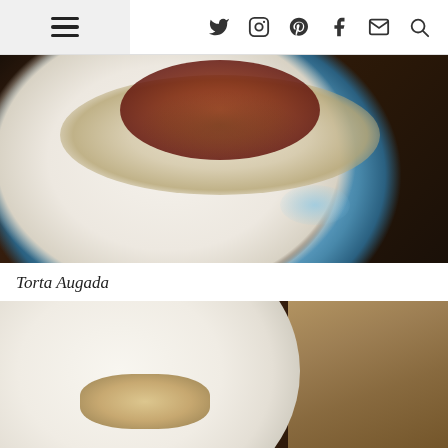Navigation menu and social icons: Twitter, Instagram, Pinterest, Facebook, Email, Search
[Figure (photo): Close-up photo of a white plate with food — appears to be pasta or noodles with tomato sauce on top, plated on a blue-rimmed dish, on a dark surface]
Torta Augada
[Figure (photo): Close-up photo of a white bowl or plate with food visible, partially cropped, on a dark and wooden surface]